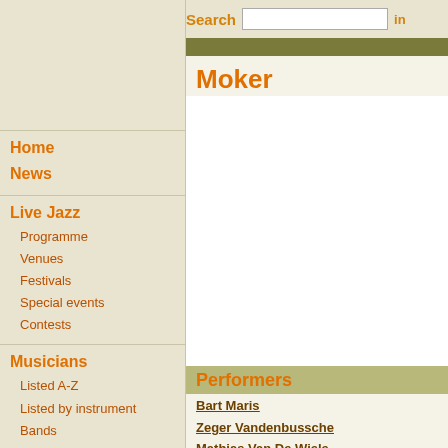Search  in
Moker
[Figure (other): Image/content area related to Moker band]
Performers
Bart Maris
Zeger Vandenbussche
Mathias Van De Wiele
Home
News
Live Jazz
Programme
Venues
Festivals
Special events
Contests
Musicians
Listed A-Z
Listed by instrument
Bands
Contacts
Hall of Fame
Non-Belgian musicians
Interviews
Prizes and awards